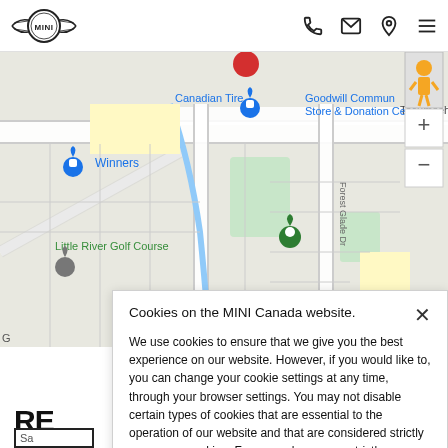MINI Canada website header with logo and navigation icons
[Figure (map): Google Maps view showing Tecumseh Rd E area with Canadian Tire, Winners, Goodwill Community Store & Donation Centre, Little River Golf Course, and a red location pin marker]
Cookies on the MINI Canada website.
We use cookies to ensure that we give you the best experience on our website. However, if you would like to, you can change your cookie settings at any time, through your browser settings. You may not disable certain types of cookies that are essential to the operation of our website and that are considered strictly necessary cookies. For example, we use strictly necessary cookies to provide you with regional pricing information. You can find detailed information about how cookies are used on this website by clicking here.